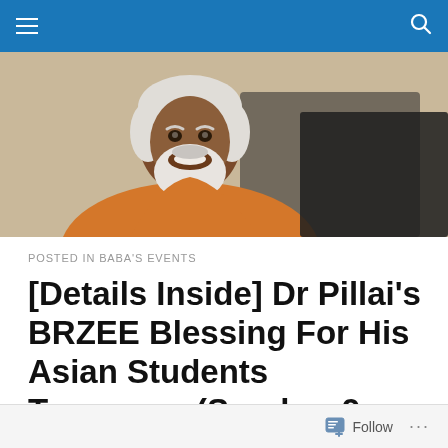Navigation bar with hamburger menu and search icon
[Figure (photo): Photo of an elderly man with white hair and white beard, wearing an orange robe, smiling, against a beige/tan background.]
POSTED IN BABA'S EVENTS
[Details Inside] Dr Pillai's BRZEE Blessing For His Asian Students Tomorrow (Sunday, 9 June 2019)
Follow ...